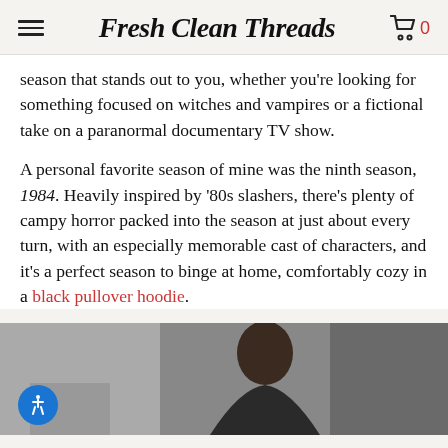Fresh Clean Threads
season that stands out to you, whether you're looking for something focused on witches and vampires or a fictional take on a paranormal documentary TV show.
A personal favorite season of mine was the ninth season, 1984. Heavily inspired by '80s slashers, there's plenty of campy horror packed into the season at just about every turn, with an especially memorable cast of characters, and it's a perfect season to binge at home, comfortably cozy in a black pullover hoodie.
[Figure (photo): A person with dark hair visible from the shoulders up against a muted gray background, with a blue accessibility button overlay in the lower left corner.]